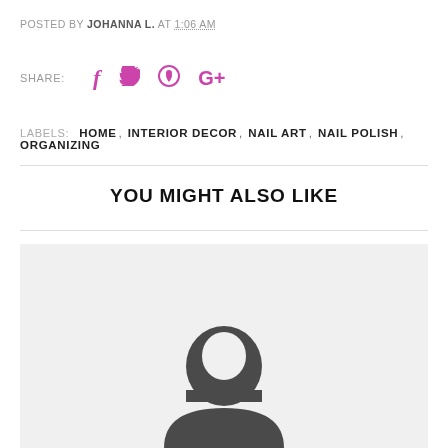POSTED BY JOHANNA L. AT 1:06 AM
SHARE:
LABELS: HOME, INTERIOR DECOR, NAIL ART, NAIL POLISH, ORGANIZING
YOU MIGHT ALSO LIKE
[Figure (illustration): Light gray placeholder thumbnail with a dark gray person/user silhouette icon centered in the lower portion]